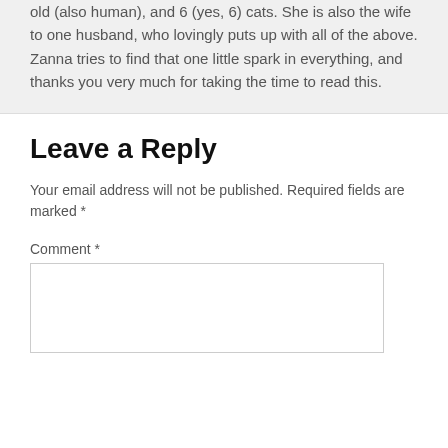old (also human), and 6 (yes, 6) cats. She is also the wife to one husband, who lovingly puts up with all of the above. Zanna tries to find that one little spark in everything, and thanks you very much for taking the time to read this.
Leave a Reply
Your email address will not be published. Required fields are marked *
Comment *